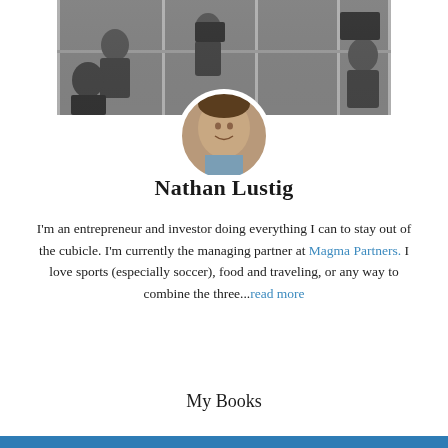[Figure (photo): Black and white banner photo of people working in office cubicles, with a circular profile photo of Nathan Lustig (a young man smiling) overlaid in the center-bottom of the banner.]
Nathan Lustig
I'm an entrepreneur and investor doing everything I can to stay out of the cubicle. I'm currently the managing partner at Magma Partners. I love sports (especially soccer), food and traveling, or any way to combine the three...read more
My Books